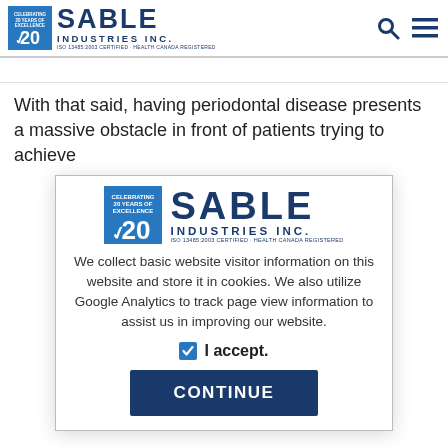Sable Industries Inc. — ISO 13485:2003 Certified · Health Canada Registered
With that said, having periodontal disease presents a massive obstacle in front of patients trying to achieve
[Figure (logo): Sable Industries Inc. logo with 20 Years of Excellence badge, ISO 13485:2003 Certified · Health Canada Registered]
We collect basic website visitor information on this website and store it in cookies. We also utilize Google Analytics to track page view information to assist us in improving our website.
I accept.
CONTINUE